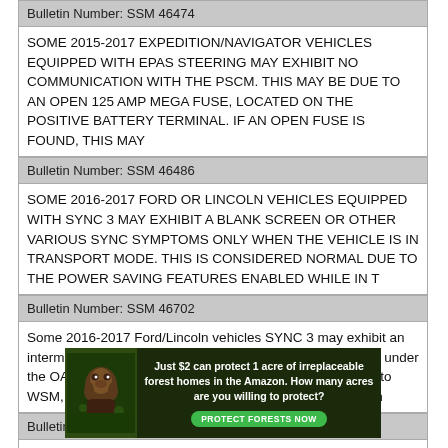Bulletin Number: SSM 46474
SOME 2015-2017 EXPEDITION/NAVIGATOR VEHICLES EQUIPPED WITH EPAS STEERING MAY EXHIBIT NO COMMUNICATION WITH THE PSCM. THIS MAY BE DUE TO AN OPEN 125 AMP MEGA FUSE, LOCATED ON THE POSITIVE BATTERY TERMINAL. IF AN OPEN FUSE IS FOUND, THIS MAY
Bulletin Number: SSM 46486
SOME 2016-2017 FORD OR LINCOLN VEHICLES EQUIPPED WITH SYNC 3 MAY EXHIBIT A BLANK SCREEN OR OTHER VARIOUS SYNC SYMPTOMS ONLY WHEN THE VEHICLE IS IN TRANSPORT MODE. THIS IS CONSIDERED NORMAL DUE TO THE POWER SAVING FEATURES ENABLED WHILE IN T
Bulletin Number: SSM 46702
Some 2016-2017 Ford/Lincoln vehicles SYNC 3 may exhibit an intermittent blank screen. Check for SYNC software update under the OASIS Tab SYNC selection. If update is available refer to WSM, Section 415-00 and update APIM software. During th
Bulletin Number: SSM 46802
Some 2016 - 2017 Expedition/Navigator vehicles may exhibit a no start condition
[Figure (infographic): Advertisement banner: 'Just $2 can protect 1 acre of irreplaceable forest homes in the Amazon. How many acres are you willing to protect?' with a green Protect Forests Now button and a photo of a primate in a rainforest.]